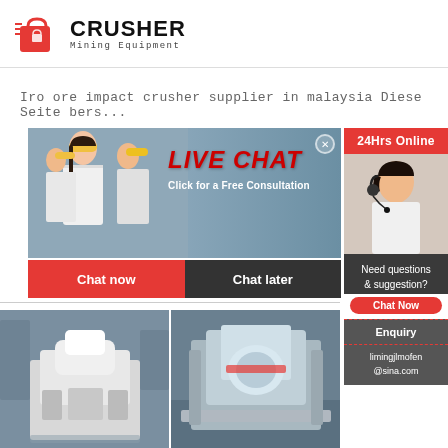[Figure (logo): Crusher Mining Equipment logo with red shopping bag icon and bold CRUSHER text]
Iro ore impact crusher supplier in malaysia Diese Seite bers...
[Figure (infographic): Live chat popup banner with workers in hard hats, LIVE CHAT heading in red, 'Click for a Free Consultation', Chat now and Chat later buttons. Also shows 24Hrs Online badge, Need questions & suggestion panel, Chat Now button, Enquiry section, and limingjlmofen@sina.com email.]
[Figure (photo): Two photos of industrial crusher machines in a factory setting]